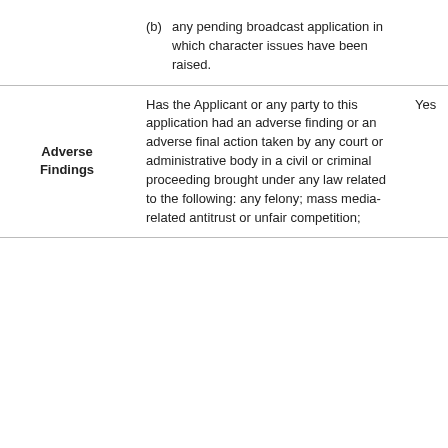|  |  |  |
| --- | --- | --- |
|  | (b)  any pending broadcast application in which character issues have been raised. |  |
| Adverse Findings | Has the Applicant or any party to this application had an adverse finding or an adverse final action taken by any court or administrative body in a civil or criminal proceeding brought under any law related to the following: any felony; mass media-related antitrust or unfair competition; | Yes |